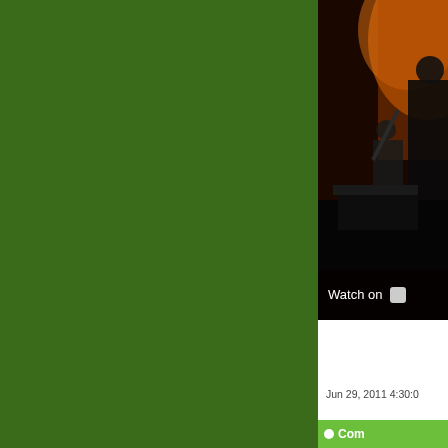[Figure (screenshot): Green background on left side of a web page or app interface]
[Figure (photo): Partial screenshot of a video thumbnail showing people in a dimly lit orange-toned room, with a 'Watch on' overlay bar at the bottom]
Watch on
Jun 29, 2011 4:30:0
Com